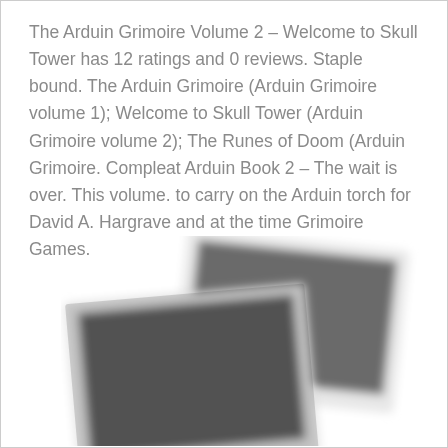The Arduin Grimoire Volume 2 – Welcome to Skull Tower has 12 ratings and 0 reviews. Staple bound. The Arduin Grimoire (Arduin Grimoire volume 1); Welcome to Skull Tower (Arduin Grimoire volume 2); The Runes of Doom (Arduin Grimoire. Compleat Arduin Book 2 – The wait is over. This volume. to carry on the Arduin torch for David A. Hargrave and at the time Grimoire Games.
[Figure (photo): Two overlapping blurred polaroid-style photographs stacked at slight angles, both showing dark gray/charcoal content, with white borders, against a white background.]